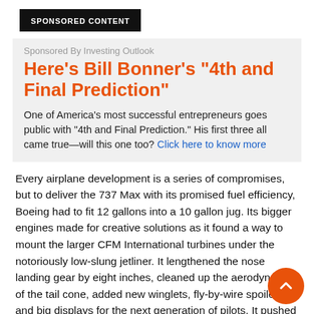SPONSORED CONTENT
Sponsored By Investing Outlook
Here’s Bill Bonner’s “4th and Final Prediction”
One of America’s most successful entrepreneurs goes public with "4th and Final Prediction." His first three all came true—will this one too? Click here to know more
Every airplane development is a series of compromises, but to deliver the 737 Max with its promised fuel efficiency, Boeing had to fit 12 gallons into a 10 gallon jug. Its bigger engines made for creative solutions as it found a way to mount the larger CFM International turbines under the notoriously low-slung jetliner. It lengthened the nose landing gear by eight inches, cleaned up the aerodynamics of the tail cone, added new winglets, fly-by-wire spoilers and big displays for the next generation of pilots. It pushed technology, as it had done time and time again with ever-increasing costs, to deliver a product that made its jets more-efficient and less-costly to fly.